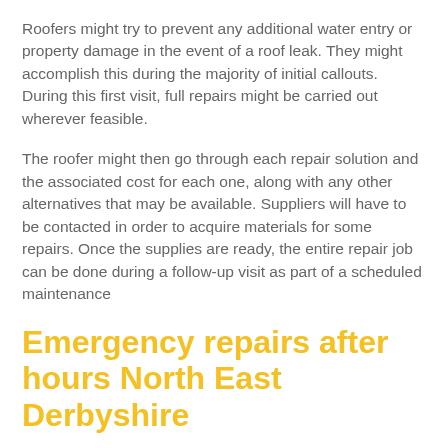Roofers might try to prevent any additional water entry or property damage in the event of a roof leak. They might accomplish this during the majority of initial callouts. During this first visit, full repairs might be carried out wherever feasible.
The roofer might then go through each repair solution and the associated cost for each one, along with any other alternatives that may be available. Suppliers will have to be contacted in order to acquire materials for some repairs. Once the supplies are ready, the entire repair job can be done during a follow-up visit as part of a scheduled maintenance
Emergency repairs after hours North East Derbyshire
Every day of the year, roofers are available to carry out repair work. They might help whether repairs are required on a weekend or a bank holiday.